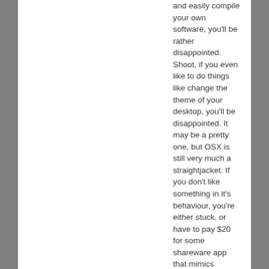and easily compile your own software, you'll be rather disappointed. Shoot, if you even like to do things like change the theme of your desktop, you'll be disappointed. It may be a pretty one, but OSX is still very much a straightjacket. If you don't like something in it's behaviour, you're either stuck, or have to pay $20 for some shareware app that mimics something you can do for free in linux.

Myself, I use both. I largely consider myself more of a linux sort of guy, I like the freedom to do what I want with my system. I like the fact that if I don't want the